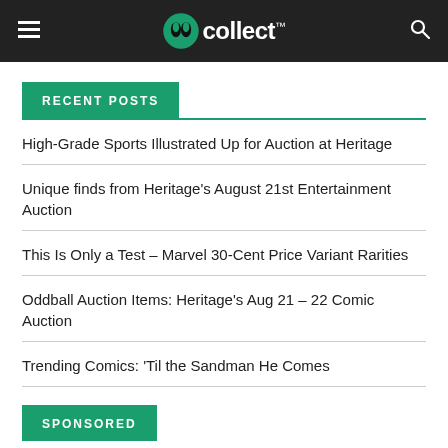gocollect
RECENT POSTS
High-Grade Sports Illustrated Up for Auction at Heritage
Unique finds from Heritage's August 21st Entertainment Auction
This Is Only a Test – Marvel 30-Cent Price Variant Rarities
Oddball Auction Items: Heritage's Aug 21 – 22 Comic Auction
Trending Comics: 'Til the Sandman He Comes
SPONSORED